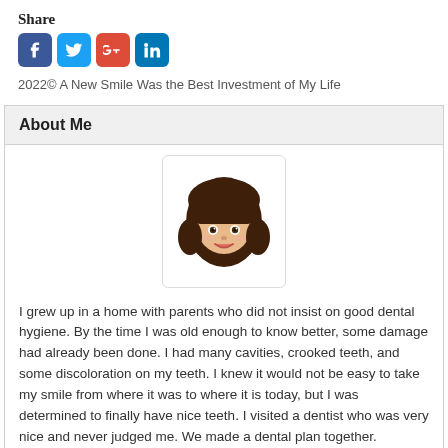Share
[Figure (illustration): Social media share buttons: Facebook, Twitter, Google+, LinkedIn — blue rounded square icons]
2022© A New Smile Was the Best Investment of My Life
About Me
[Figure (illustration): Cartoon avatar of a girl with dark brown hair, round face, and a small smile, inside a rounded rectangle border]
I grew up in a home with parents who did not insist on good dental hygiene. By the time I was old enough to know better, some damage had already been done. I had many cavities, crooked teeth, and some discoloration on my teeth. I knew it would not be easy to take my smile from where it was to where it is today, but I was determined to finally have nice teeth. I visited a dentist who was very nice and never judged me. We made a dental plan together. Spreading the procedures out over time made it much easier to afford them. I now have almost perfect teeth after all that hard work! I created this blog to help others who have dental problems that stem from bad childhood habits know there is hope! It is never too late to start